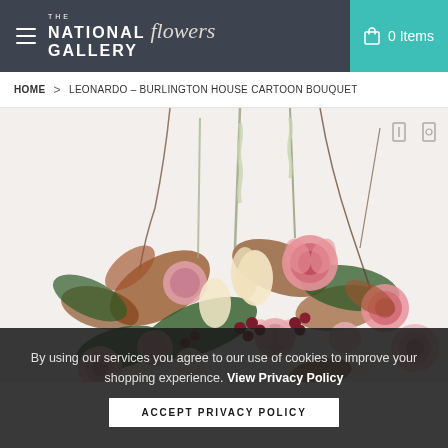THE NATIONAL GALLERY flowers — 0 Items
HOME > LEONARDO – BURLINGTON HOUSE CARTOON BOUQUET
[Figure (photo): A lush floral bouquet arrangement featuring pink roses, cream tulips, rust-coloured leaves, carnations, and dark berries on a light background.]
By using our services you agree to our use of cookies to improve your shopping experience. View Privacy Policy
ACCEPT PRIVACY POLICY